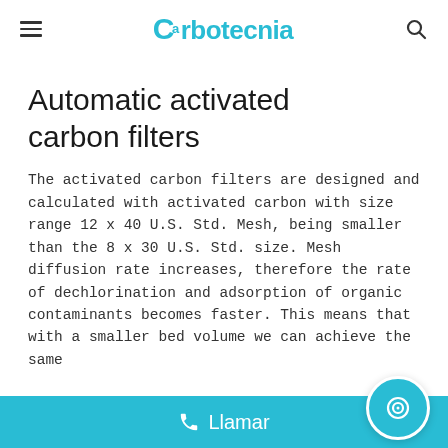Carbotecnia
Automatic activated carbon filters
The activated carbon filters are designed and calculated with activated carbon with size range 12 x 40 U.S. Std. Mesh, being smaller than the 8 x 30 U.S. Std. size. Mesh diffusion rate increases, therefore the rate of dechlorination and adsorption of organic contaminants becomes faster. This means that with a smaller bed volume we can achieve the same
Llamar